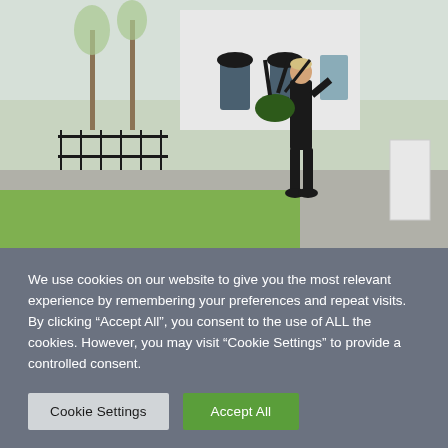[Figure (photo): Outdoor photograph of a person in dark clothing playing bagpipes, standing on a pavement next to a green lawn. Behind them is a white building with black railings and trees in the background under bright daylight.]
We use cookies on our website to give you the most relevant experience by remembering your preferences and repeat visits. By clicking “Accept All”, you consent to the use of ALL the cookies. However, you may visit “Cookie Settings” to provide a controlled consent.